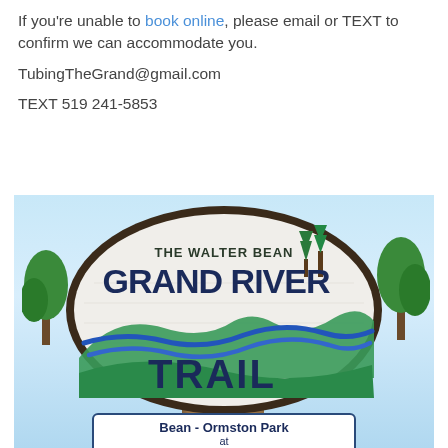If you're unable to book online, please email or TEXT to confirm we can accommodate you.
TubingTheGrand@gmail.com
TEXT 519 241-5853
[Figure (photo): Photo of The Walter Bean Grand River Trail sign at Bean-Ormston Park at Moyer's Blair Landing]